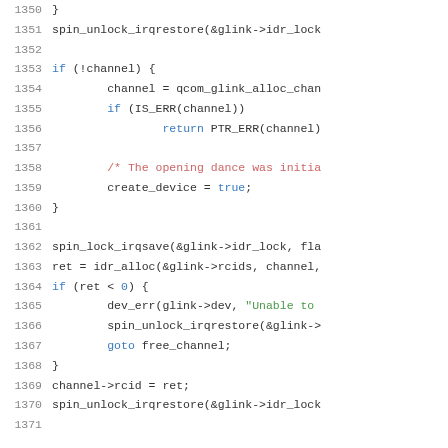[Figure (screenshot): Source code listing showing C code lines 1350-1371, syntax highlighted with line numbers in gray, keywords in blue, function names in default dark, string literals in green, comments in red/pink, and special values in blue/green.]